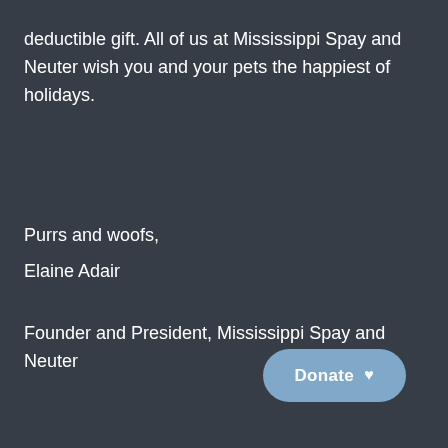deductible gift. All of us at Mississippi Spay and Neuter wish you and your pets the happiest of holidays.
Purrs and woofs,
Elaine Adair
Founder and President, Mississippi Spay and Neuter
Donate ♥